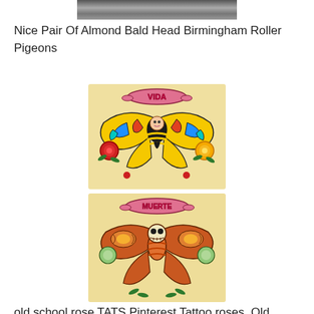[Figure (photo): Partial photo of pigeons at the top of the page]
Nice Pair Of Almond Bald Head Birmingham Roller Pigeons
[Figure (illustration): Two old-school tattoo illustrations stacked vertically. Top image shows a butterfly-bee hybrid with a woman's face, colorful wings (yellow, blue, red, teal), roses, and a banner reading 'VIDA'. Bottom image shows a moth with a skull face, orange-brown wings, green flowers, and a banner reading 'MUERTE'.]
old school rose TATS Pinterest Tattoo roses, Old